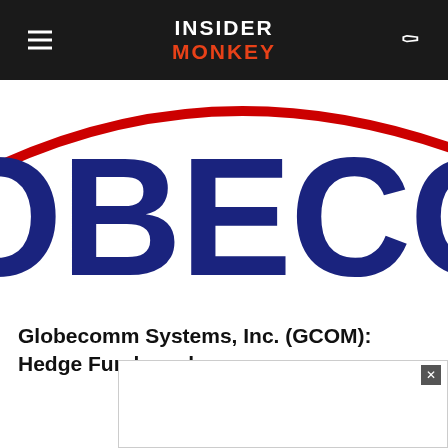INSIDER MONKEY
[Figure (logo): Partial Globecomm Systems logo cropped — showing 'OBECOM' in large dark blue bold text with a red arc swoosh above on white background]
Globecomm Systems, Inc. (GCOM): Hedge Funds and